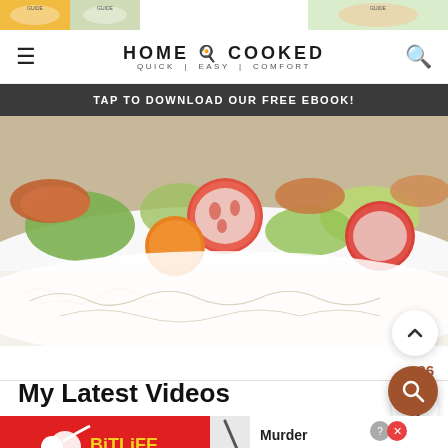[Figure (photo): Top ad strip with food thumbnail images and guide labels]
HOME COOKED — QUICK | EASY | COMFORT
TAP TO DOWNLOAD OUR FREE EBOOK!
[Figure (photo): Close-up photo of a colorful salad dish with tomatoes, carrots, lettuce and other vegetables on a white decorative plate]
86
My Latest Videos
[Figure (screenshot): Black video player area]
[Figure (photo): BitLife advertisement banner — Murder Do it!]